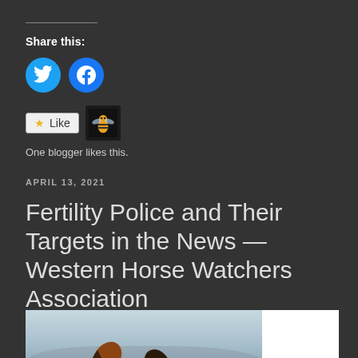Share this:
[Figure (illustration): Twitter and Facebook social share buttons (cyan circles with bird and f icons)]
[Figure (illustration): Like button widget with star icon and blogger avatar showing a yellow hornet/wasp mascot]
One blogger likes this.
APRIL 13, 2021
Fertility Police and Their Targets in the News — Western Horse Watchers Association
[Figure (photo): Two wild horses rearing up and fighting each other in a desert landscape, with a herd of horses visible in the background]